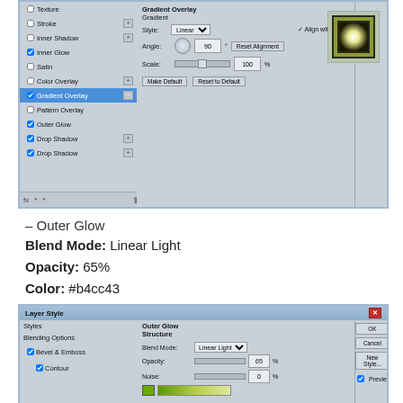[Figure (screenshot): Photoshop Layer Style dialog screenshot showing top portion with Gradient Overlay selected in the left panel, and gradient settings (Style: Linear, Angle: 90, Scale: 100%) in the center panel, with a preview showing glowing square on black background in the right panel.]
– Outer Glow
Blend Mode: Linear Light
Opacity: 65%
Color: #b4cc43
Size: 10
[Figure (screenshot): Photoshop Layer Style dialog showing bottom portion with Outer Glow Structure settings: Blend Mode: Linear Light, Opacity: 65%, Noise: 0, with color swatch and gradient preview. Right panel shows OK, Cancel, New Style..., and Preview buttons.]